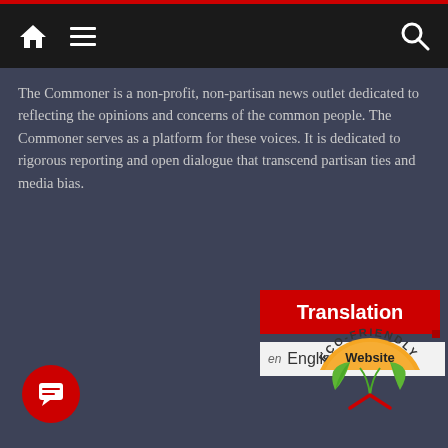Navigation bar with home, menu, and search icons
The Commoner is a non-profit, non-partisan news outlet dedicated to reflecting the opinions and concerns of the common people. The Commoner serves as a platform for these voices. It is dedicated to rigorous reporting and open dialogue that transcend partisan ties and media bias.
[Figure (other): Translation button (red) and English language selector dropdown]
[Figure (logo): Eco-Friendly Website badge with orange semicircle, green leaves, and text]
[Figure (other): Red circular chat/messaging button in bottom-left corner]